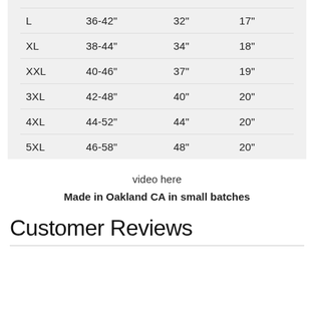| Size | Chest | Length | Sleeve |
| --- | --- | --- | --- |
| L | 36-42" | 32" | 17" |
| XL | 38-44" | 34" | 18" |
| XXL | 40-46" | 37" | 19" |
| 3XL | 42-48" | 40" | 20" |
| 4XL | 44-52" | 44" | 20" |
| 5XL | 46-58" | 48" | 20" |
video here
Made in Oakland CA in small batches
Customer Reviews